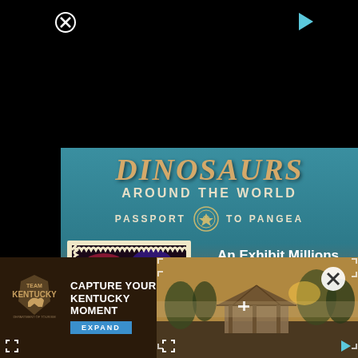[Figure (screenshot): Black top bar with close (X) button on left and play button on top right]
[Figure (advertisement): Dinosaurs Around the World - Passport to Pangea exhibit advertisement for MOSI. Teal background with large dinosaur title text, stamp-style image of green dinosaur, and text: An Exhibit Millions of Years in the Making. Going on now at MOSI!!]
[Figure (advertisement): Team Kentucky - Capture Your Kentucky Moment - with Expand button. Dark brown background with state logo.]
[Figure (screenshot): Outdoor scenic photo with gazebo structure, close button on right, crosshair/target in center, expand icons at bottom corners]